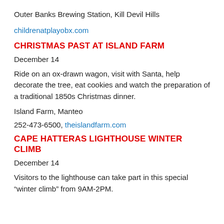Outer Banks Brewing Station, Kill Devil Hills
childrenatplayobx.com
CHRISTMAS PAST AT ISLAND FARM
December 14
Ride on an ox-drawn wagon, visit with Santa, help decorate the tree, eat cookies and watch the preparation of a traditional 1850s Christmas dinner.
Island Farm, Manteo
252-473-6500, theislandfarm.com
CAPE HATTERAS LIGHTHOUSE WINTER CLIMB
December 14
Visitors to the lighthouse can take part in this special “winter climb” from 9AM-2PM.